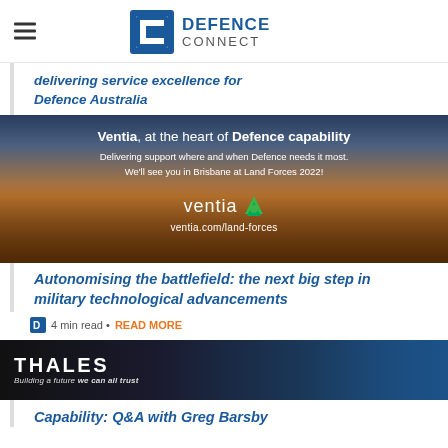[Figure (logo): Defence Connect logo with hamburger menu icon on left]
delivering service excellence for Defence Australia
[Figure (photo): Ventia advertisement banner: 'Ventia, at the heart of Defence capability. Delivering support where and when Defence needs it most. We'll see you in Brisbane at Land Forces 2022! ventia ventia.com/land-forces' — dark background with military vehicle silhouette at sunset]
Autonomising the battlefield: the next big step in military technological advancements
4 min read · READ MORE
[Figure (photo): Thales advertisement banner: 'THALES Building a future we can all trust' with soldier silhouette and digital graphics]
Capability: Q&A with Greg Barsby